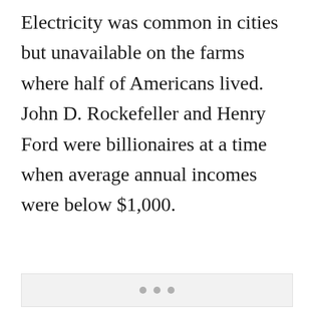Electricity was common in cities but unavailable on the farms where half of Americans lived. John D. Rockefeller and Henry Ford were billionaires at a time when average annual incomes were below $1,000.
[Figure (other): A light gray placeholder image box with three small gray dots centered near the bottom, indicating an image carousel or loading state.]